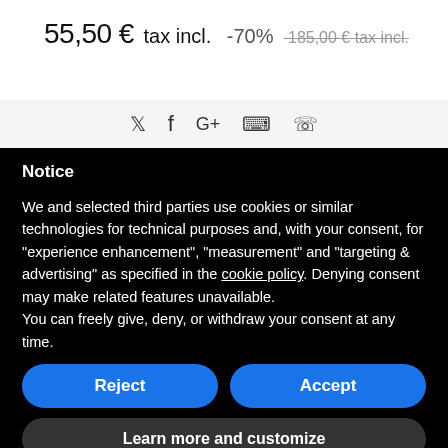55,50 € tax incl. -70% 185,00 € tax incl.
[Figure (other): Social sharing icons: Twitter, Facebook, Google+, Pinterest, WhatsApp]
Notice
We and selected third parties use cookies or similar technologies for technical purposes and, with your consent, for "experience enhancement", "measurement" and "targeting & advertising" as specified in the cookie policy. Denying consent may make related features unavailable.
You can freely give, deny, or withdraw your consent at any time.
Reject
Accept
Learn more and customize